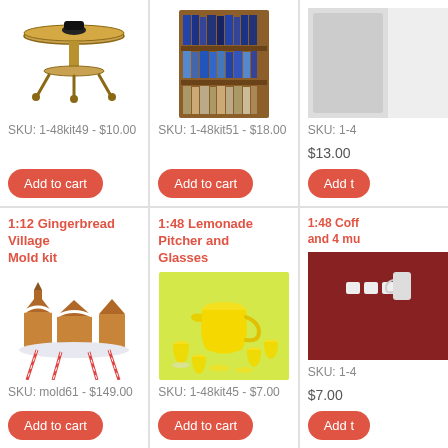[Figure (photo): Miniature round side table with golden/bronze finish and claw feet - 1:48 scale dollhouse furniture]
SKU: 1-48kit49 - $10.00
Add to cart
[Figure (photo): Miniature wooden bookshelf filled with small books - 1:48 scale dollhouse furniture]
SKU: 1-48kit51 - $18.00
Add to cart
SKU: 1-4
$13.00
Add t
1:12 Gingerbread Village Mold kit
[Figure (photo): Gingerbread village mold kit showing miniature gingerbread houses and buildings on a display with red and white ribbon decorations]
SKU: mold61 - $149.00
Add to cart
1:48 Lemonade Pitcher and Glasses
[Figure (photo): Miniature yellow lemonade pitcher and glasses set on yellow-green background - 1:48 scale dollhouse accessories]
SKU: 1-48kit45 - $7.00
Add to cart
1:48 Coff and 4 mu
[Figure (photo): Partial view of miniature coffee set with mugs on dark red background]
SKU: 1-4
$7.00
Add t